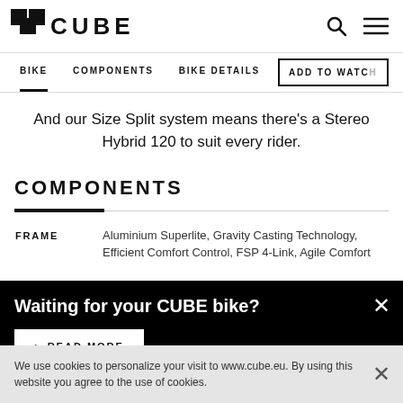CUBE logo, search icon, menu icon
BIKE | COMPONENTS | BIKE DETAILS | ADD TO WATCH
And our Size Split system means there's a Stereo Hybrid 120 to suit every rider.
COMPONENTS
| Component | Description |
| --- | --- |
| FRAME | Aluminium Superlite, Gravity Casting Technology, Efficient Comfort Control, FSP 4-Link, Agile Comfort |
Waiting for your CUBE bike?
> READ MORE
We use cookies to personalize your visit to www.cube.eu. By using this website you agree to the use of cookies.